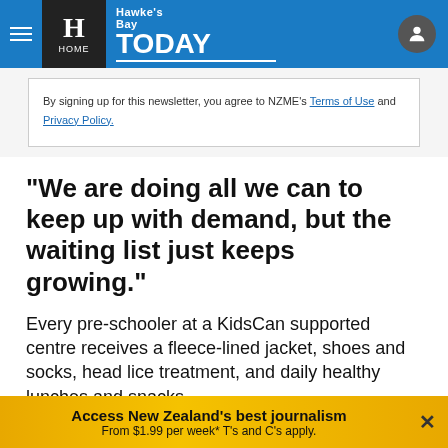Hawke's Bay TODAY - HOME
By signing up for this newsletter, you agree to NZME's Terms of Use and Privacy Policy.
"We are doing all we can to keep up with demand, but the waiting list just keeps growing."
Every pre-schooler at a KidsCan supported centre receives a fleece-lined jacket, shoes and socks, head lice treatment, and daily healthy lunches and snacks.
One centre which has been on the waiting list since 2019 is Bette Christie Kindergarten in Maraenui.
Access New Zealand's best journalism From $1.99 per week* T's and C's apply.